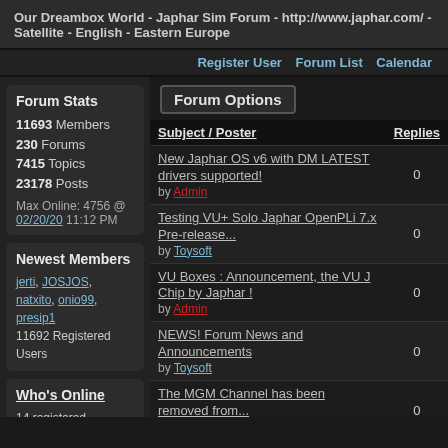Our Dreambox World - Japhar Sim Forum - http://www.japhar.com/ - Satellite - English - Eastern Europe
Register User  Forum List  Calendar
Forum Stats
11693 Members
230 Forums
7415 Topics
23178 Posts
Max Online: 4756 @ 02/20/20 11:12 PM
Newest Members
jerti, JOSJOS, natxito, onio99, presip1
11692 Registered Users
Who's Online
14 registered (Toysoft, Admin, kkkk, 432, spats1, el.es, Smith, yurky, moura232, Dorvis, jerti, babrak
Forum Options
| Subject / Poster | Replies |
| --- | --- |
| New Japhar OS v6 with DM LATEST drivers supported! by Admin | 0 |
| Testing VU+ Solo Japhar OpenPLi 7.x Pre-release... by Toysoft | 0 |
| VU Boxes : Announcement, the VU J Chip by Japhar ! by Admin | 0 |
| NEWS! Forum News and Announcements by Toysoft | 0 |
| The MGM Channel has been removed from... by Admin | 0 |
| Orange Moldova taps VO for new TV service by Admin | 0 |